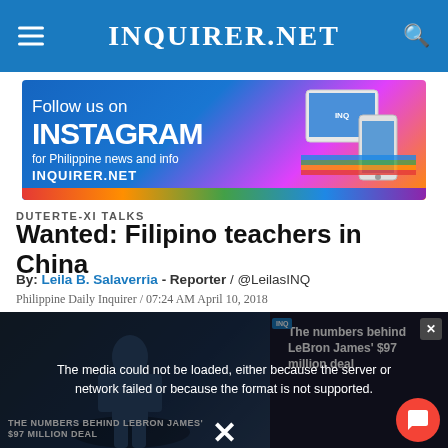INQUIRER.NET
[Figure (screenshot): Follow us on Instagram for Philippine news and info - INQUIRER.NET advertisement banner]
DUTERTE-XI TALKS
Wanted: Filipino teachers in China
By: Leila B. Salaverria - Reporter / @LeilasINQ
Philippine Daily Inquirer / 07:24 AM April 10, 2018
[Figure (screenshot): Video player with media error message: The media could not be loaded, either because the server or network failed or because the format is not supported. Background shows basketball player (LeBron James) with overlay text 'THE NUMBERS BEHIND LEBRON JAMES $97 MILLION DEAL'. Related article title visible: 'The numbers behind LeBron James $97 million deal'. Orange chat button and X close button visible.]